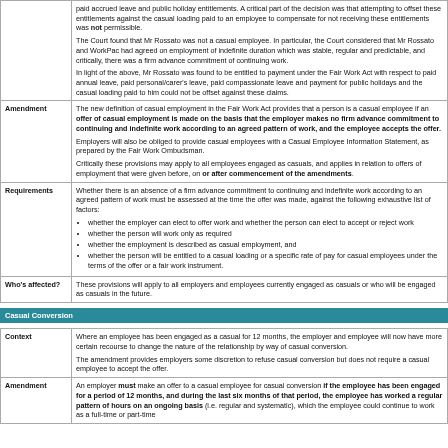|  |  |
| --- | --- |
|  | paid accrued leave and public holiday entitlements. A critical part of the decision was that attempting to offset these entitlements against the casual loading paid to an employee to compensate for not receiving these entitlements was not permissible.

The Court found that Mr Rossato was not a casual employee. In particular, the Court considered that Mr Rossato and WorkPac had agreed on employment of indefinite duration which was stable, regular and predictable, and critically, there was a firm advance commitment of continuing work.

In light of the above, Mr Rossato was found to be entitled to payment under the Fair Work Act with respect to paid annual leave, paid personal/carer's leave, paid compassionate leave and payment for public holidays and the casual loading paid to him could not be offset against these claims. |
| Amendment | The new definition of casual employment in the Fair Work Act provides that a person is a casual employee if an offer of casual employment is made on the basis that the employer makes no firm advance commitment to continuing and indefinite work according to an agreed pattern of work, and the employee accepts the offer.

Employers will also be obliged to provide casual employees with a Casual Employee Information Statement, as prepared by the Fair Work Ombudsman.

Critically these provisions may apply to all employees engaged as casuals, and applies in relation to offers of employment that were given before, on or after commencement of the amendments. |
| Requirements | Whether there is an absence of a firm advance commitment to continuing and indefinite work according to an agreed pattern of work must be assessed at the time the offer was made, against the following exhaustive list of factors:
• whether the employer can elect to offer work and whether the person can elect to accept or reject work
• whether the person will work only as required
• whether the employment is described as casual employment, and
• whether the person will be entitled to a casual loading or a specific rate of pay for casual employees under the terms of the offer or a fair work instrument. |
| Who's affected? | These provisions will apply to all employers and employees currently engaged as casuals or who will be engaged as casuals in the future. |
Casual Conversion
|  |  |
| --- | --- |
| Context | Where an employee has been engaged as a casual for 12 months, the employer and employee will now have more certain recourse to change the nature of the relationship by way of casual conversion.

The amendment provides employers some discretion to refuse casual conversion but does not require a casual employee to accept the offer. |
| Amendment | An employer must make an offer to a casual employee for casual conversion if the employee has been engaged for a period of 12 months, and during the last six months of that period, the employee has worked a regular pattern of hours on an ongoing basis (i.e. regular and systematic), which the employee could continue to work as a full-time or part-time |